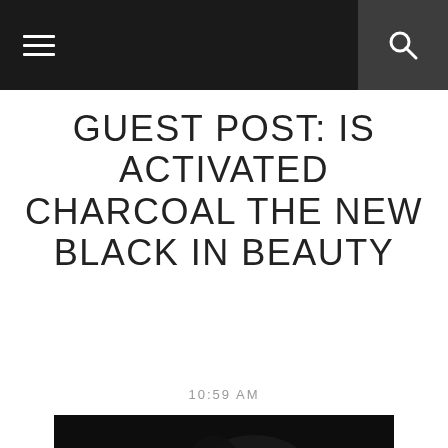☰  🔍
GUEST POST: IS ACTIVATED CHARCOAL THE NEW BLACK IN BEAUTY
10:59 AM
[Figure (photo): Black and white dramatic photo of a woman's face partially lit against a dark background, with white italic handwritten text reading 'Is Activated Charcoal' and bold text 'The New Black in Beauty?']